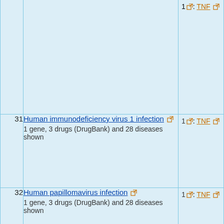| # | Disease / Condition | Genes / Drugs |
| --- | --- | --- |
|  |  | 1⊡: TNF ⊡ (partial, top clipped) |
| 31 | Human immunodeficiency virus 1 infection ⊡
1 gene, 3 drugs (DrugBank) and 28 diseases shown | 1⊡: TNF ⊡ |
| 32 | Human papillomavirus infection ⊡
1 gene, 3 drugs (DrugBank) and 28 diseases shown | 1⊡: TNF ⊡ |
| 33 | Human T-cell leukemia virus 1 infection ⊡
4 genes, 5 drugs (DrugBank) and 39 diseases shown | 2⊡: IL1R1 ⊡
1⊡: ITGAL
1⊡: TNF ⊡ |